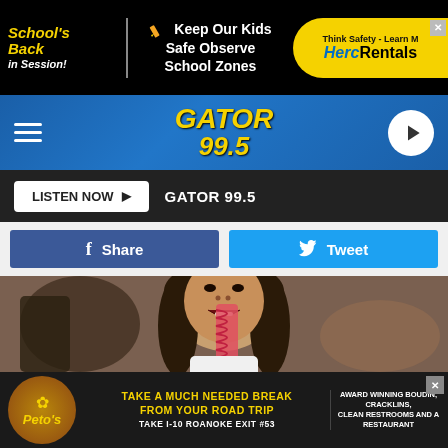[Figure (screenshot): Top advertisement banner: School's Back in Session! Keep Our Kids Safe Observe School Zones. HercRentals Think Safety Learn More.]
[Figure (logo): Gator 99.5 radio station navigation bar with hamburger menu, logo, and play button]
LISTEN NOW ▶  GATOR 99.5
f  Share   🐦 Tweet
[Figure (photo): Young girl licking a spiral red popsicle/ice pop in a restaurant setting]
[Figure (screenshot): Bottom advertisement: Peto's logo. TAKE A MUCH NEEDED BREAK FROM YOUR ROAD TRIP TAKE I-10 ROANOKE EXIT #53. Award winning boudin, cracklins, clean restrooms and a restaurant.]